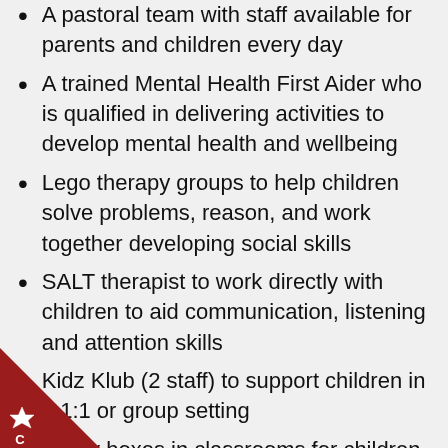A pastoral team with staff available for parents and children every day
A trained Mental Health First Aider who is qualified in delivering activities to develop mental health and wellbeing
Lego therapy groups to help children solve problems, reason, and work together developing social skills
SALT therapist to work directly with children to aid communication, listening and attention skills
Kidz Klub (2 staff) to support children in a 1:1 or group setting
Worry boxes in classrooms for children to ensure they can speak about their worries